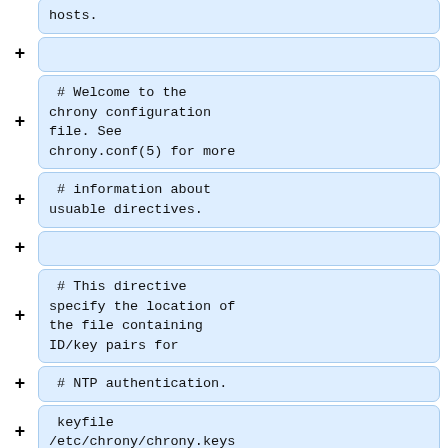hosts.
# Welcome to the chrony configuration file. See chrony.conf(5) for more
# information about usuable directives.
# This directive specify the location of the file containing ID/key pairs for
# NTP authentication.
keyfile /etc/chrony/chrony.keys